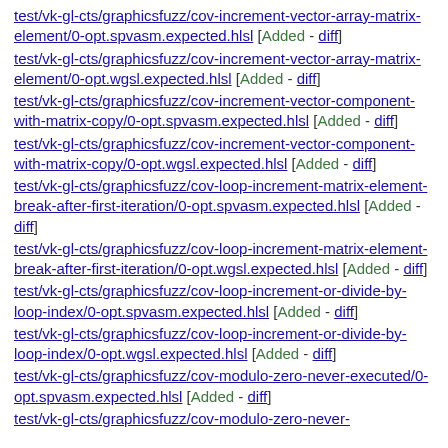test/vk-gl-cts/graphicsfuzz/cov-increment-vector-array-matrix-element/0-opt.spvasm.expected.hlsl [Added - diff]
test/vk-gl-cts/graphicsfuzz/cov-increment-vector-array-matrix-element/0-opt.wgsl.expected.hlsl [Added - diff]
test/vk-gl-cts/graphicsfuzz/cov-increment-vector-component-with-matrix-copy/0-opt.spvasm.expected.hlsl [Added - diff]
test/vk-gl-cts/graphicsfuzz/cov-increment-vector-component-with-matrix-copy/0-opt.wgsl.expected.hlsl [Added - diff]
test/vk-gl-cts/graphicsfuzz/cov-loop-increment-matrix-element-break-after-first-iteration/0-opt.spvasm.expected.hlsl [Added - diff]
test/vk-gl-cts/graphicsfuzz/cov-loop-increment-matrix-element-break-after-first-iteration/0-opt.wgsl.expected.hlsl [Added - diff]
test/vk-gl-cts/graphicsfuzz/cov-loop-increment-or-divide-by-loop-index/0-opt.spvasm.expected.hlsl [Added - diff]
test/vk-gl-cts/graphicsfuzz/cov-loop-increment-or-divide-by-loop-index/0-opt.wgsl.expected.hlsl [Added - diff]
test/vk-gl-cts/graphicsfuzz/cov-modulo-zero-never-executed/0-opt.spvasm.expected.hlsl [Added - diff]
test/vk-gl-cts/graphicsfuzz/cov-modulo-zero-never-executed/...